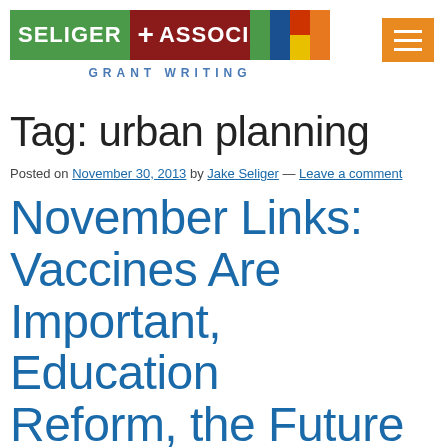SELIGER + ASSOCIATES GRANT WRITING
Tag: urban planning
Posted on November 30, 2013 by Jake Seliger — Leave a comment
November Links: Vaccines Are Important, Education Reform, the Future of the World, Broadband,